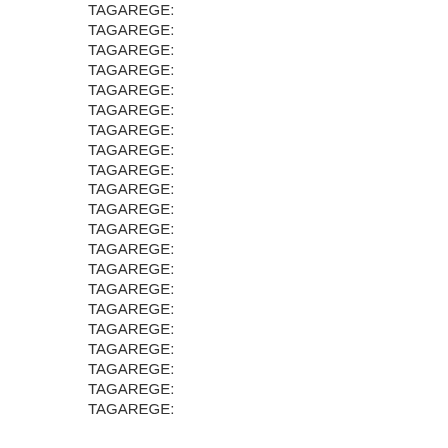TAGAREGE:
TAGAREGE:
TAGAREGE:
TAGAREGE:
TAGAREGE:
TAGAREGE:
TAGAREGE:
TAGAREGE:
TAGAREGE:
TAGAREGE:
TAGAREGE:
TAGAREGE:
TAGAREGE:
TAGAREGE:
TAGAREGE:
TAGAREGE:
TAGAREGE:
TAGAREGE:
TAGAREGE:
TAGAREGE:
TAGAREGE: